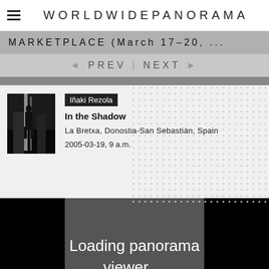WORLDWIDEPANORAMA
MARKETPLACE (March 17–20, ...
◄ PREV | NEXT ►
Iñaki Rezola
In the Shadow
La Bretxa, Donostia-San Sebastián, Spain
2005-03-19, 9 a.m.
[Figure (photo): Black and white thumbnail photo showing shadowy figures]
Loading panorama viewer ...